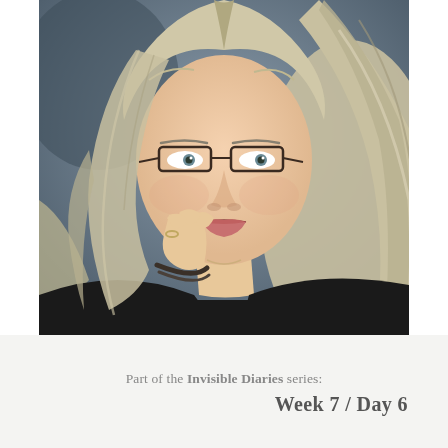[Figure (photo): Portrait photo of a middle-aged woman with long blonde-grey hair, wearing rectangular glasses and a black top. She is resting her cheek on her hand, which has a ring and a dark bracelet. Background is grey-blue.]
Part of the Invisible Diaries series: Week 7 / Day 6